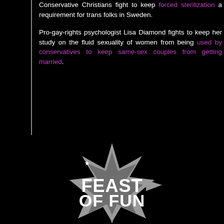Conservative Christians fight to keep forced sterilization a requirement for trans folks in Sweden.
Pro-gay-rights psychologist Lisa Diamond fights to keep her study on the fluid sexuality of women from being used by conservatives to keep same-sex couples from getting married.
[Figure (logo): Feast of Fun logo — a grey star-burst shape with bold white text reading FEAST OF FUN with a small star in the letter A]